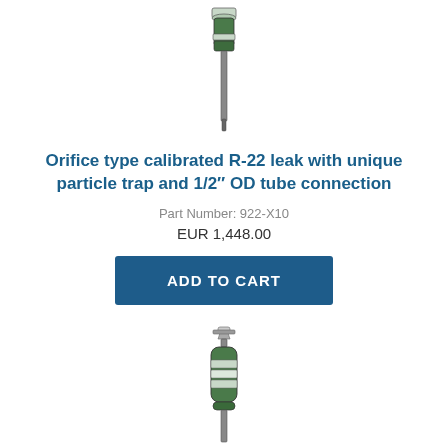[Figure (photo): Photo of an orifice type calibrated R-22 leak device with particle trap and 1/2 inch OD tube connection — a cylindrical green metal device with a narrow tube extending downward]
Orifice type calibrated R-22 leak with unique particle trap and 1/2" OD tube connection
Part Number: 922-X10
EUR 1,448.00
ADD TO CART
[Figure (photo): Photo of a second calibrated leak standard device — a green cylindrical canister with valve on top, labeled bands around the body, and a narrow tube at the bottom]